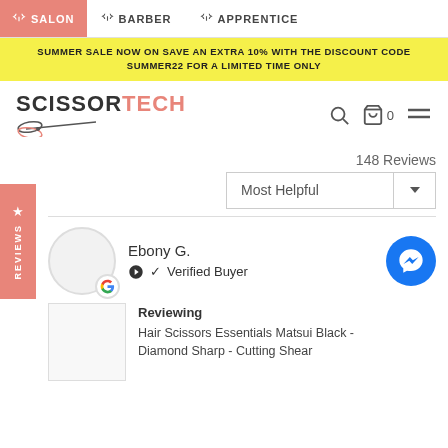SALON  BARBER  APPRENTICE
SUMMER SALE NOW ON SAVE AN EXTRA 10% WITH THE DISCOUNT CODE SUMMER22 FOR A LIMITED TIME ONLY
[Figure (logo): ScissorTech logo with scissors graphic]
148 Reviews
Most Helpful
Ebony G.
Verified Buyer
Reviewing
Hair Scissors Essentials Matsui Black - Diamond Sharp - Cutting Shear